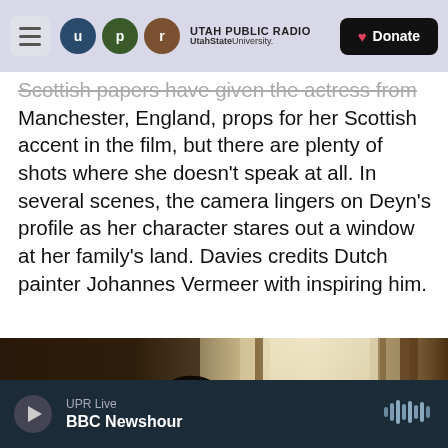UTAH PUBLIC RADIO – UtahStateUniversity. | Donate
Scottish papers have given the actress from Manchester, England, props for her Scottish accent in the film, but there are plenty of shots where she doesn't speak at all. In several scenes, the camera lingers on Deyn's profile as her character stares out a window at her family's land. Davies credits Dutch painter Johannes Vermeer with inspiring him.
[Figure (photo): A silhouette of a woman seen in profile looking toward a bright window with sheer curtains, in a dimly lit room with warm ambient light.]
UPR Live – BBC Newshour